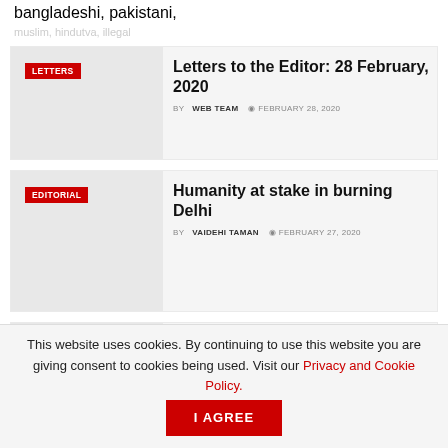bangladeshi, pakistani, muslim, hindutva, illegal
Letters to the Editor: 28 February, 2020 BY WEB TEAM FEBRUARY 28, 2020
Humanity at stake in burning Delhi BY VAIDEHI TAMAN FEBRUARY 27, 2020
Mumbaikars condemn Delhi violence BY SURAJ CHANDRAN FEBRUARY 28, 2020
This website uses cookies. By continuing to use this website you are giving consent to cookies being used. Visit our Privacy and Cookie Policy. I Agree